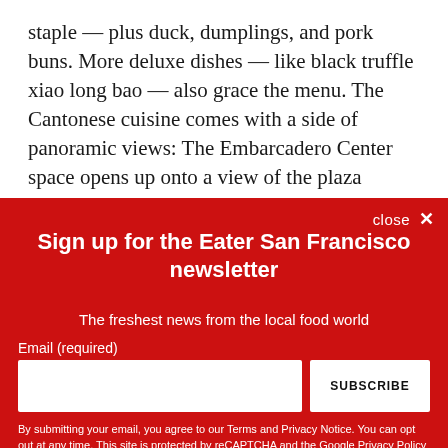staple — plus duck, dumplings, and pork buns. More deluxe dishes — like black truffle xiao long bao — also grace the menu. The Cantonese cuisine comes with a side of panoramic views: The Embarcadero Center space opens up onto a view of the plaza formerly known as Justin Herman Plaza, a short distance from the Ferry Building and within sight of the Bay Bridge.
Sign up for the Eater San Francisco newsletter
The freshest news from the local food world
Email (required)
By submitting your email, you agree to our Terms and Privacy Notice. You can opt out at any time. This site is protected by reCAPTCHA and the Google Privacy Policy and Terms of Service apply.